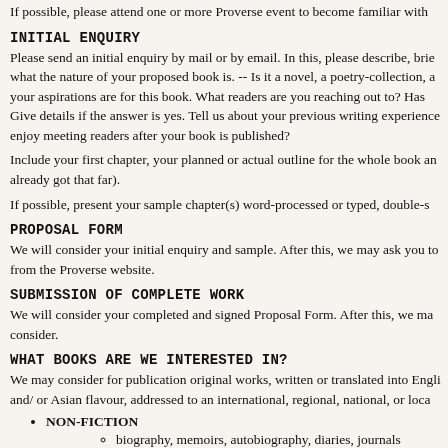If possible, please attend one or more Proverse event to become familiar with
INITIAL ENQUIRY
Please send an initial enquiry by mail or by email. In this, please describe, briefly, what the nature of your proposed book is. -- Is it a novel, a poetry-collection, a... your aspirations are for this book. What readers are you reaching out to? Has... Give details if the answer is yes. Tell us about your previous writing experience... enjoy meeting readers after your book is published?
Include your first chapter, your planned or actual outline for the whole book and... already got that far).
If possible, present your sample chapter(s) word-processed or typed, double-s
PROPOSAL FORM
We will consider your initial enquiry and sample. After this, we may ask you to... from the Proverse website.
SUBMISSION OF COMPLETE WORK
We will consider your completed and signed Proposal Form. After this, we may... consider.
WHAT BOOKS ARE WE INTERESTED IN?
We may consider for publication original works, written or translated into Engli... and/ or Asian flavour, addressed to an international, regional, national, or loca
NON-FICTION
biography, memoirs, autobiography, diaries, journals
local history, heritage
history of education
social history
legal history
religion, spirituality
art by single artists
health